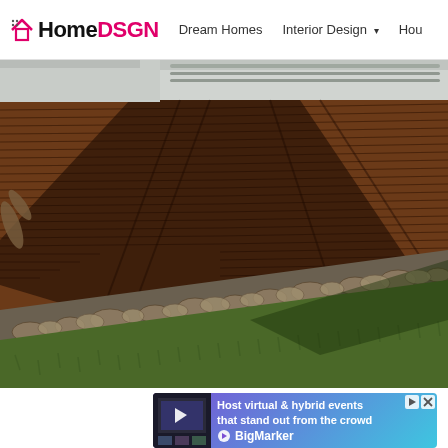HomeDSGN | Dream Homes | Interior Design | Hou...
[Figure (photo): Aerial/overhead view of a wooden deck with dark brown planks, shadows from a structure above, a rock/gabion border, and green grass below]
[Figure (infographic): Advertisement banner: 'Host virtual & hybrid events that stand out from the crowd' BigMarker ad with purple-to-blue gradient background, small video thumbnail on left, BigMarker logo on right]